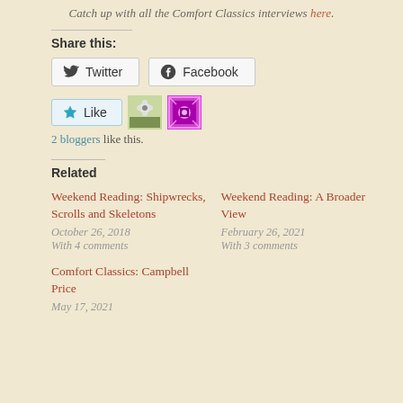Catch up with all the Comfort Classics interviews here.
Share this:
Twitter  Facebook
Like  2 bloggers like this.
Related
Weekend Reading: Shipwrecks, Scrolls and Skeletons
October 26, 2018
With 4 comments
Weekend Reading: A Broader View
February 26, 2021
With 3 comments
Comfort Classics: Campbell Price
May 17, 2021